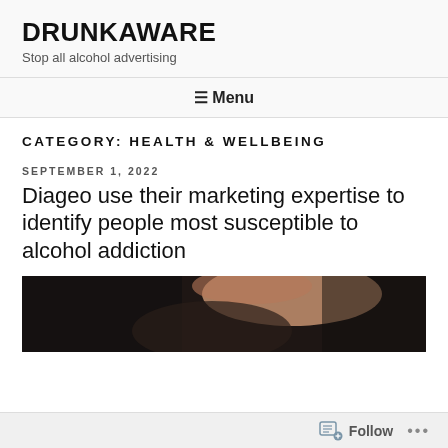DRUNKAWARE
Stop all alcohol advertising
≡ Menu
CATEGORY: HEALTH & WELLBEING
SEPTEMBER 1, 2022
Diageo use their marketing expertise to identify people most susceptible to alcohol addiction
[Figure (photo): Close-up photo of a person's face, dark hair visible, appears to be looking downward]
Follow ...